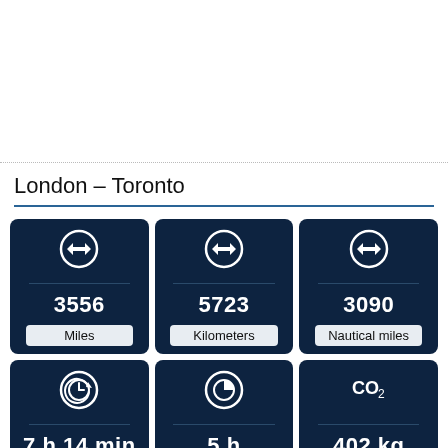[Figure (other): White blank area at top of page]
London – Toronto
[Figure (infographic): Six info cards in 2x3 grid showing distance and travel info: 3556 Miles, 5723 Kilometers, 3090 Nautical miles, 7 h 14 min, 5 h, 402 kg CO2]